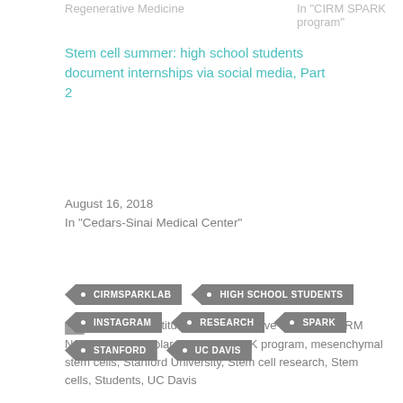Regenerative Medicine
In "CIRM SPARK program"
Stem cell summer: high school students document internships via social media, Part 2
August 16, 2018
In "Cedars-Sinai Medical Center"
California Institute for Regenerative Medicine, CIRM News, CIRM Scholars, CIRM SPARK program, mesenchymal stem cells, Stanford University, Stem cell research, Stem cells, Students, UC Davis
CIRMSPARKLAB
HIGH SCHOOL STUDENTS
INSTAGRAM
RESEARCH
SPARK
STANFORD
UC DAVIS